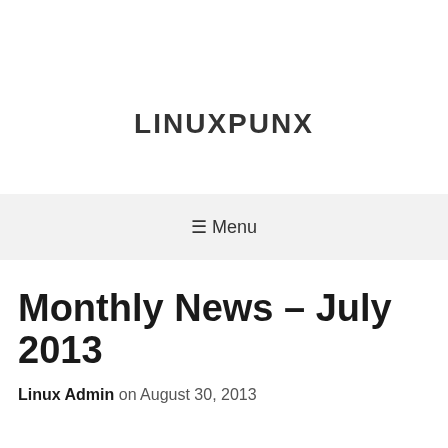LINUXPUNX
☰ Menu
Monthly News – July 2013
Linux Admin on August 30, 2013